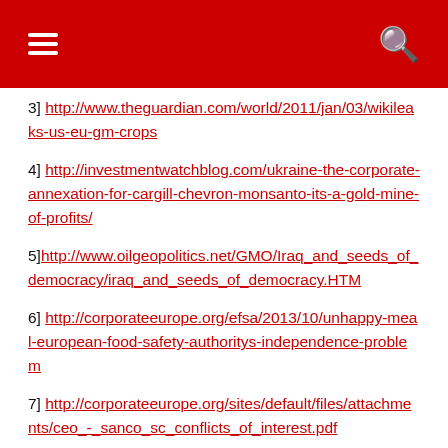Navigation header with hamburger menu and search icon
3] http://www.theguardian.com/world/2011/jan/03/wikileaks-us-eu-gm-crops
4] http://investmentwatchblog.com/ukraine-the-corporate-annexation-for-cargill-chevron-monsanto-its-a-gold-mine-of-profits/
5] http://www.oilgeopolitics.net/GMO/Iraq_and_seeds_of_democracy/iraq_and_seeds_of_democracy.HTM
6] http://corporateeurope.org/efsa/2013/10/unhappy-meal-european-food-safety-authoritys-independence-problem
7] http://corporateeurope.org/sites/default/files/attachments/ceo_-_sanco_sc_conflicts_of_interest.pdf